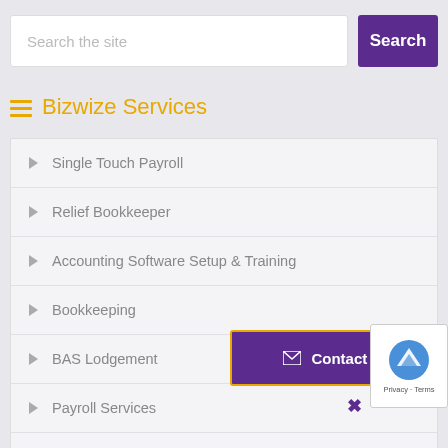[Figure (screenshot): Search bar with text input placeholder 'Search the site' and a purple Search button]
Bizwize Services
Single Touch Payroll
Relief Bookkeeper
Accounting Software Setup & Training
Bookkeeping
BAS Lodgement
Payroll Services
Procedures & Training
Moving to the Cloud
[Figure (screenshot): Purple Contact Us button with envelope icon and gold border, and reCAPTCHA badge showing Privacy - Terms]